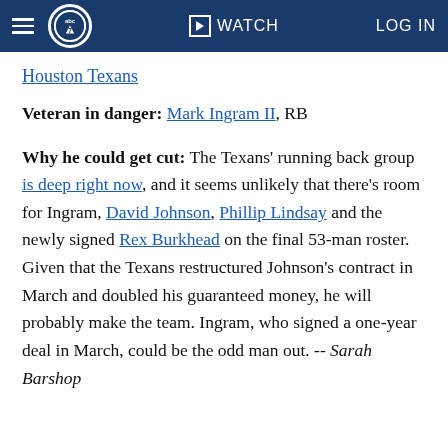abc7 | WATCH | LOG IN
Houston Texans
Veteran in danger: Mark Ingram II, RB
Why he could get cut: The Texans' running back group is deep right now, and it seems unlikely that there's room for Ingram, David Johnson, Phillip Lindsay and the newly signed Rex Burkhead on the final 53-man roster. Given that the Texans restructured Johnson's contract in March and doubled his guaranteed money, he will probably make the team. Ingram, who signed a one-year deal in March, could be the odd man out. -- Sarah Barshop